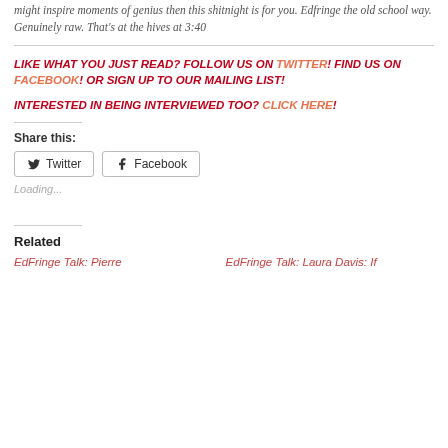might inspire moments of genius then this shitnight is for you. Edfringe the old school way. Genuinely raw. That's at the hives at 3:40
LIKE WHAT YOU JUST READ? FOLLOW US ON TWITTER! FIND US ON FACEBOOK! OR SIGN UP TO OUR MAILING LIST!
INTERESTED IN BEING INTERVIEWED TOO? CLICK HERE!
Share this:
Twitter
Facebook
Loading...
Related
EdFringe Talk: Pierre
EdFringe Talk: Laura Davis: If